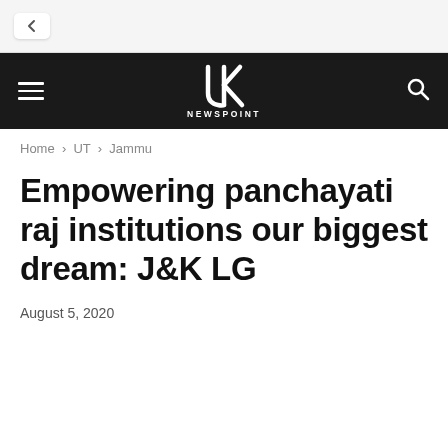[Figure (screenshot): Browser chrome top bar with back button]
JK Newspoint navigation bar with hamburger menu, JK Newspoint logo, and search icon
Home › UT › Jammu
Empowering panchayati raj institutions our biggest dream: J&K LG
August 5, 2020